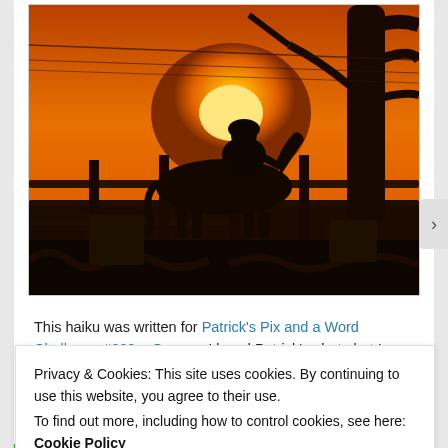[Figure (photo): A silhouette of a person riding a horse against a vivid orange sunset sky, with fence rails and a large tree visible in the background. The scene is at a stable or farm, with dark foreground clutter.]
This haiku was written for Patrick's Pix and a Word Challenge #209 – Orange. I loved Patrick's photo but I
Privacy & Cookies: This site uses cookies. By continuing to use this website, you agree to their use.
To find out more, including how to control cookies, see here: Cookie Policy
Close and accept